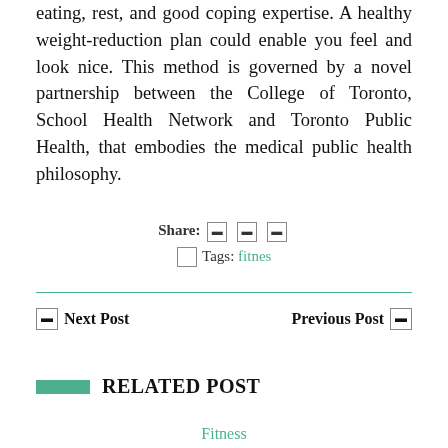eating, rest, and good coping expertise. A healthy weight-reduction plan could enable you feel and look nice. This method is governed by a novel partnership between the College of Toronto, School Health Network and Toronto Public Health, that embodies the medical public health philosophy.
Share: [icon] [icon] [icon] [icon] Tags: fitnes
Next Post   Previous Post
RELATED POST
Fitness